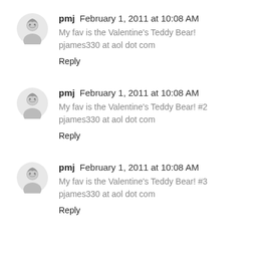pmj  February 1, 2011 at 10:08 AM
My fav is the Valentine's Teddy Bear!
pjames330 at aol dot com
Reply
pmj  February 1, 2011 at 10:08 AM
My fav is the Valentine's Teddy Bear! #2
pjames330 at aol dot com
Reply
pmj  February 1, 2011 at 10:08 AM
My fav is the Valentine's Teddy Bear! #3
pjames330 at aol dot com
Reply